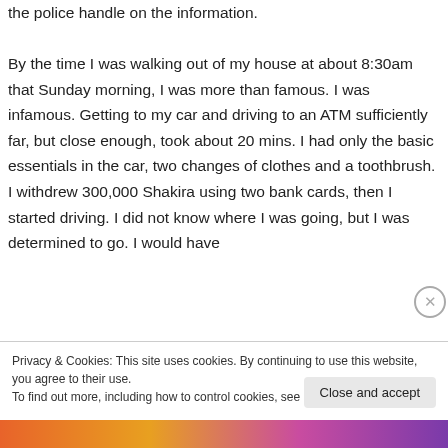the police handle on the information.

By the time I was walking out of my house at about 8:30am that Sunday morning, I was more than famous. I was infamous. Getting to my car and driving to an ATM sufficiently far, but close enough, took about 20 mins. I had only the basic essentials in the car, two changes of clothes and a toothbrush. I withdrew 300,000 Shakira using two bank cards, then I started driving. I did not know where I was going, but I was determined to go. I would have
Privacy & Cookies: This site uses cookies. By continuing to use this website, you agree to their use.
To find out more, including how to control cookies, see here: Cookie Policy
Close and accept